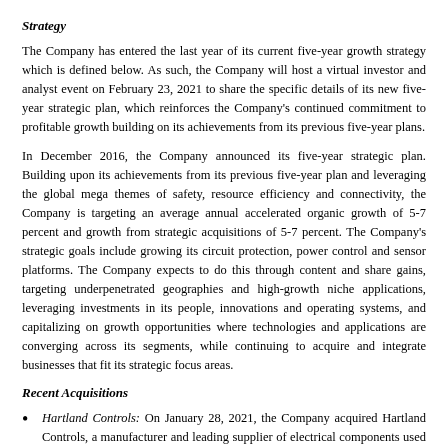Strategy
The Company has entered the last year of its current five-year growth strategy which is defined below. As such, the Company will host a virtual investor and analyst event on February 23, 2021 to share the specific details of its new five-year strategic plan, which reinforces the Company's continued commitment to profitable growth building on its achievements from its previous five-year plans.
In December 2016, the Company announced its five-year strategic plan. Building upon its achievements from its previous five-year plan and leveraging the global mega themes of safety, resource efficiency and connectivity, the Company is targeting an average annual accelerated organic growth of 5-7 percent and growth from strategic acquisitions of 5-7 percent. The Company's strategic goals include growing its circuit protection, power control and sensor platforms. The Company expects to do this through content and share gains, targeting underpenetrated geographies and high-growth niche applications, leveraging investments in its people, innovations and operating systems, and capitalizing on growth opportunities where technologies and applications are converging across its segments, while continuing to acquire and integrate businesses that fit its strategic focus areas.
Recent Acquisitions
Hartland Controls: On January 28, 2021, the Company acquired Hartland Controls, a manufacturer and leading supplier of electrical components used primarily in heating, ventilation, air conditioning (HVAC) and other industrial and control systems applications with annualized sales of approximately $70 million. The cash purchase price